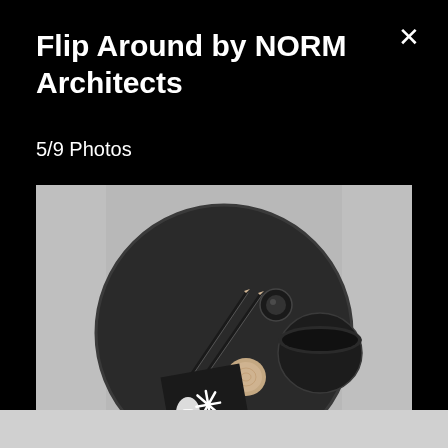Flip Around by NORM Architects
5/9 Photos
[Figure (photo): Overhead (top-down) photo of a dark circular tray on a grey textured surface. On the tray: two dark pencils, a small round object, a circular cup/bowl, a small wooden disc, and a black square card with a white hand/star graphic.]